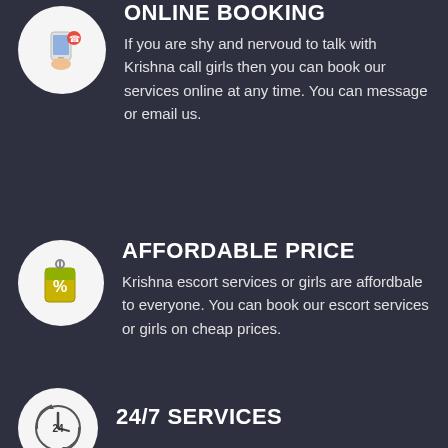ONLINE BOOKING
If you are shy and nervoud to talk with Krishna call girls then you can book our services online at any time. You can message or email us.
AFFORDABLE PRICE
Krishna escort services or girls are affordbale to everyone. You can book our escort services or girls on cheap prices.
24/7 SERVICES